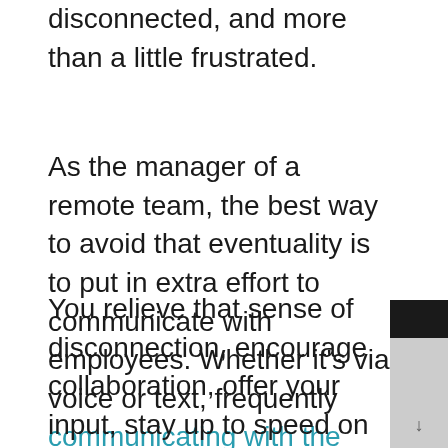disconnected, and more than a little frustrated.
As the manager of a remote team, the best way to avoid that eventuality is to put in extra effort to communicate with employees. Whether it's via voice or text, frequently communicating with the team will solve a whole host of problems.
You relieve that sense of disconnection, encourage collaboration, offer your input, stay up to speed on progress, let people know you care, and identify work-related issues before they can develop.